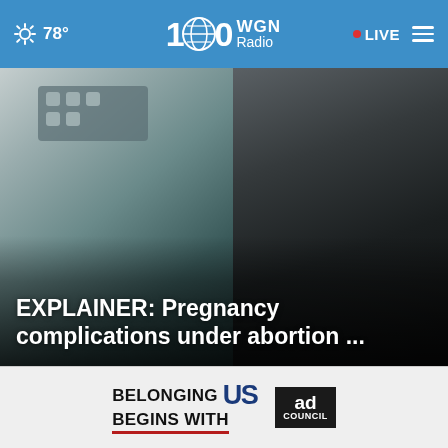78° WGN Radio 100 • LIVE
[Figure (photo): Medical ultrasound machine with technician and patient in dark clinical setting. Text overlay reads: EXPLAINER: Pregnancy complications under abortion ...]
EXPLAINER: Pregnancy complications under abortion ...
[Figure (photo): Close-up of a glass sphere or lens with dark background, left thumbnail]
[Figure (photo): Close-up of an older man's face/forehead, right thumbnail]
[Figure (infographic): Ad Council advertisement: BELONGING BEGINS WITH US]